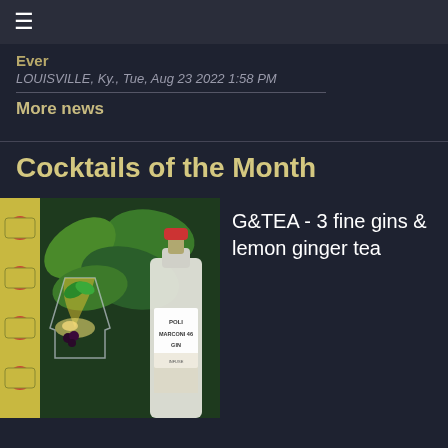≡
Ever
LOUISVILLE, Ky., Tue, Aug 23 2022 1:58 PM
More news
Cocktails of the Month
[Figure (photo): A cocktail glass with ice and garnish next to a bottle of Poli Marconi 46 Gin, with colorful illustrated background]
G&TEA - 3 fine gins & lemon ginger tea